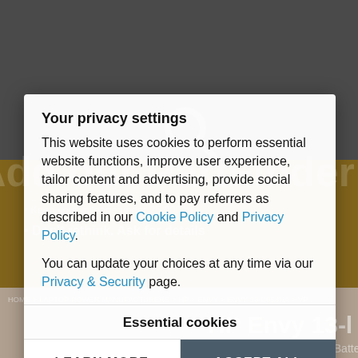[Figure (screenshot): Background of a website showing a dark overlay, brown banner with faint text 'Add our PartFinder to y...', breadcrumb navigation, and partial product name 'HP Envy 13-' with 'Rechargeable Laptop Batte...' text]
Your privacy settings
This website uses cookies to perform essential website functions, improve user experience, tailor content and advertising, provide social sharing features, and to pay referrers as described in our Cookie Policy and Privacy Policy.
You can update your choices at any time via our Privacy & Security page.
Essential cookies
LEARN MORE
ACCEPT ALL